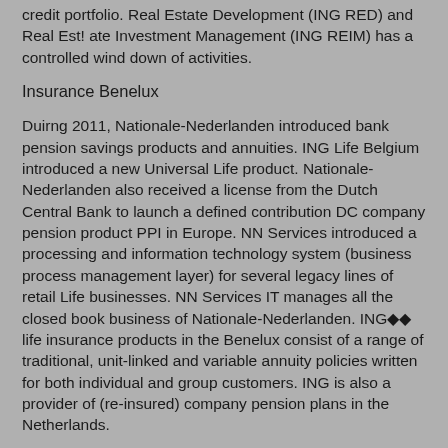credit portfolio. Real Estate Development (ING RED) and Real Est! ate Investment Management (ING REIM) has a controlled wind down of activities.
Insurance Benelux
Duirng 2011, Nationale-Nederlanden introduced bank pension savings products and annuities. ING Life Belgium introduced a new Universal Life product. Nationale-Nederlanden also received a license from the Dutch Central Bank to launch a defined contribution DC company pension product PPI in Europe. NN Services introduced a processing and information technology system (business process management layer) for several legacy lines of retail Life businesses. NN Services IT manages all the closed book business of Nationale-Nederlanden. ING◆◆ life insurance products in the Benelux consist of a range of traditional, unit-linked and variable annuity policies written for both individual and group customers. ING is also a provider of (re-insured) company pension plans in the Netherlands.
NG Benelux◆◆non-life products, mainly in the Netherlands, include coverage for both individual and commercial/group